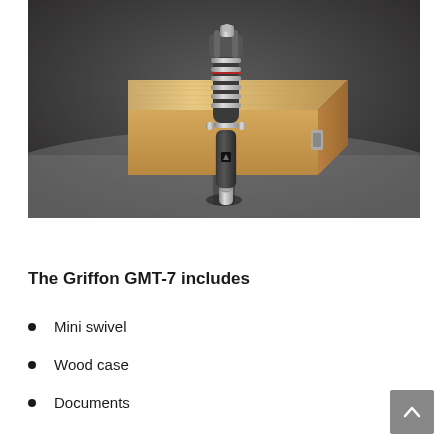[Figure (photo): A Griffon GMT-7 microphone (dark grey/black body with chrome accents and grille) standing upright on a grey surface in front of a natural wood box/case. The background is dark grey. The microphone has a distinctive retro design with horizontal chrome bars and a small logo on the body.]
The Griffon GMT-7 includes
Mini swivel
Wood case
Documents